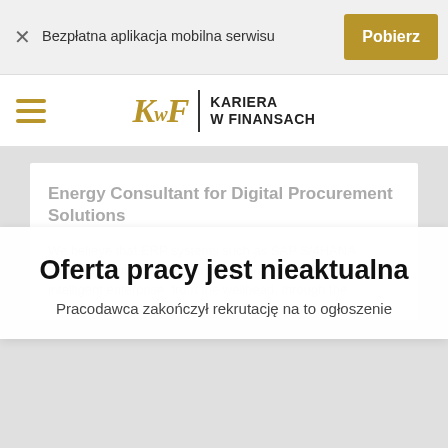Bezpłatna aplikacja mobilna serwisu
[Figure (logo): KwF Kariera w Finansach logo with hamburger menu icon]
Energy Consultant for Digital Procurement Solutions
We believe that ERP systems such as SAP S/4HANA Industry Solutions for Oil and Gas are the foundation for the intelligent enterprise: from the wellhead, through the
Oferta pracy jest nieaktualna
Pracodawca zakończył rekrutację na to ogłoszenie